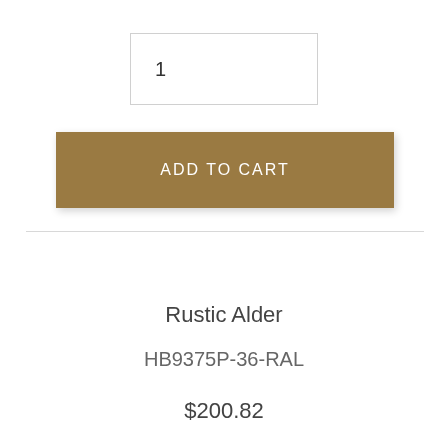1
ADD TO CART
Rustic Alder
HB9375P-36-RAL
$200.82